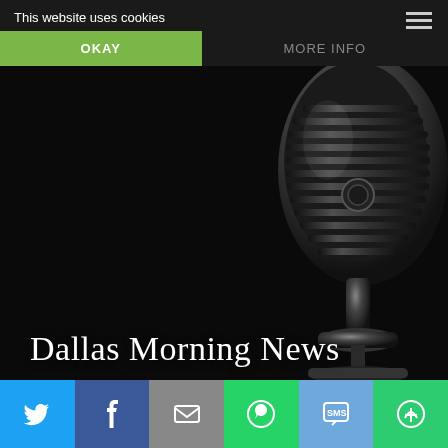This website uses cookies
OKAY
MORE INFO
[Figure (photo): Vintage retro microphone on dark black background, highly detailed metallic silver/chrome finish]
Dallas Morning News
Home > Episode Archives > Dallas Morning News
[Figure (infographic): Social sharing bar with Twitter (blue), Facebook (dark blue), Email (grey), WhatsApp (green), SMS (light blue), and More options (green) buttons with white icons]